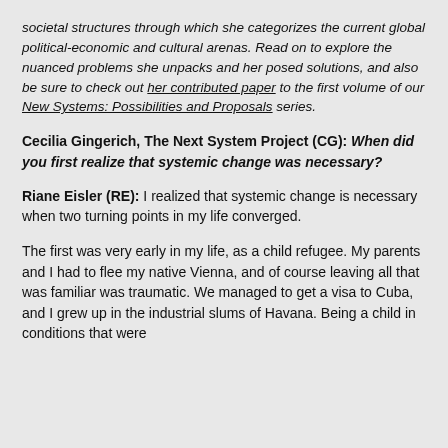societal structures through which she categorizes the current global political-economic and cultural arenas. Read on to explore the nuanced problems she unpacks and her posed solutions, and also be sure to check out her contributed paper to the first volume of our New Systems: Possibilities and Proposals series.
Cecilia Gingerich, The Next System Project (CG): When did you first realize that systemic change was necessary?
Riane Eisler (RE): I realized that systemic change is necessary when two turning points in my life converged.
The first was very early in my life, as a child refugee. My parents and I had to flee my native Vienna, and of course leaving all that was familiar was traumatic. We managed to get a visa to Cuba, and I grew up in the industrial slums of Havana. Being a child in conditions that were...